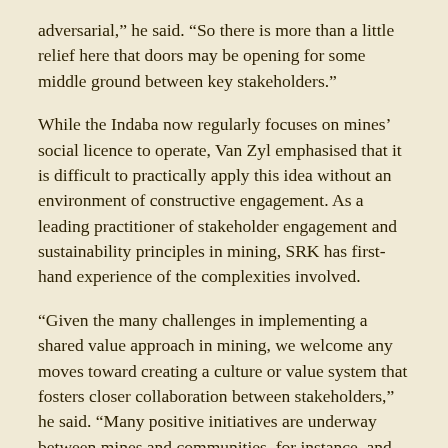adversarial,” he said. “So there is more than a little relief here that doors may be opening for some middle ground between key stakeholders.”
While the Indaba now regularly focuses on mines’ social licence to operate, Van Zyl emphasised that it is difficult to practically apply this idea without an environment of constructive engagement. As a leading practitioner of stakeholder engagement and sustainability principles in mining, SRK has first-hand experience of the complexities involved.
“Given the many challenges in implementing a shared value approach in mining, we welcome any moves toward creating a culture or value system that fosters closer collaboration between stakeholders,” he said. “Many positive initiatives are underway between mines and communities, for instance, and we contribute to a number of them. But they rely on stakeholder commitment to engage with each other constructively – and the president reinforced that.”
Speaking then of concerns, Ministry of Mineral R...